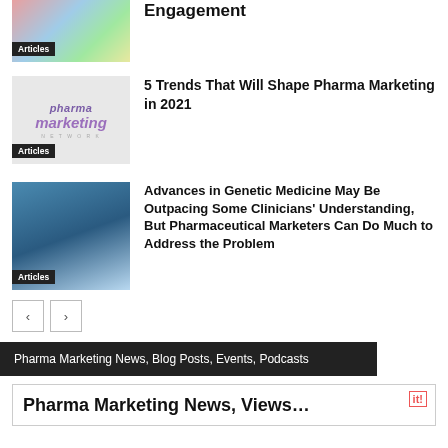[Figure (photo): Thumbnail image of diverse people collage with Articles label]
Engagement
[Figure (photo): Pharma Marketing Network logo image with Articles label]
5 Trends That Will Shape Pharma Marketing in 2021
[Figure (photo): Science/genetic medicine image with Articles label]
Advances in Genetic Medicine May Be Outpacing Some Clinicians’ Understanding, But Pharmaceutical Marketers Can Do Much to Address the Problem
Pharma Marketing News, Blog Posts, Events, Podcasts
Pharma Marketing News, Views…